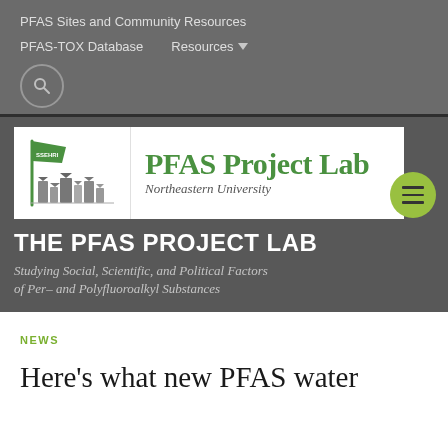PFAS Sites and Community Resources
PFAS-TOX Database   Resources
[Figure (logo): PFAS Project Lab logo with SSEHRI building graphic on left and 'PFAS Project Lab - Northeastern University' text on right]
THE PFAS PROJECT LAB
Studying Social, Scientific, and Political Factors of Per- and Polyfluoroalkyl Substances
NEWS
Here's what new PFAS water